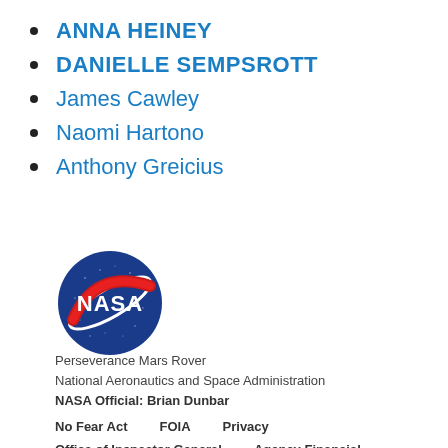ANNA HEINEY
DANIELLE SEMPSROTT
James Cawley
Naomi Hartono
Anthony Greicius
[Figure (logo): NASA meatball logo — circular blue field with NASA text, white orbital ring, and red swoosh]
Perseverance Mars Rover
National Aeronautics and Space Administration
NASA Official: Brian Dunbar
No Fear Act    FOIA    Privacy
Office of Inspector General    Agency Financial Reports
Contact NASA